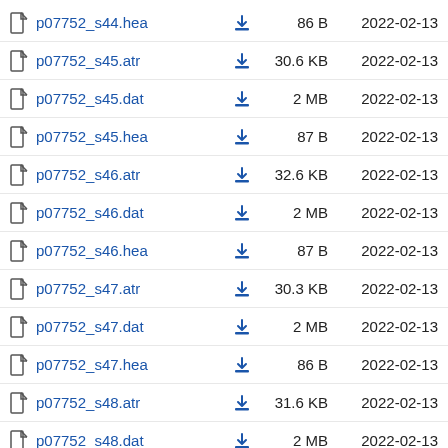p07752_s44.hea  86 B  2022-02-13
p07752_s45.atr  30.6 KB  2022-02-13
p07752_s45.dat  2 MB  2022-02-13
p07752_s45.hea  87 B  2022-02-13
p07752_s46.atr  32.6 KB  2022-02-13
p07752_s46.dat  2 MB  2022-02-13
p07752_s46.hea  87 B  2022-02-13
p07752_s47.atr  30.3 KB  2022-02-13
p07752_s47.dat  2 MB  2022-02-13
p07752_s47.hea  86 B  2022-02-13
p07752_s48.atr  31.6 KB  2022-02-13
p07752_s48.dat  2 MB  2022-02-13
p07752_s48.hea  85 B  2022-02-13
p07752_s49.atr  29.5 KB  2022-02-13